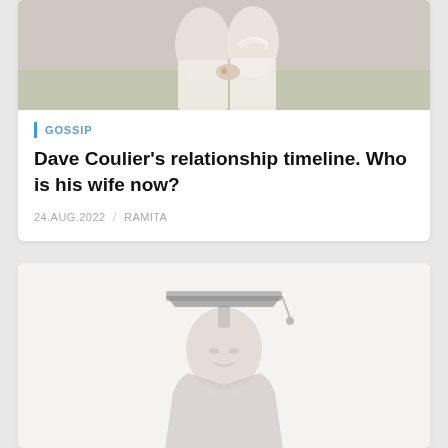[Figure (photo): Photo of a couple in white clothing outdoors, showing hands/arms with a ring visible]
GOSSIP
Dave Coulier's relationship timeline. Who is his wife now?
24.AUG.2022 / RAMITA
[Figure (photo): Placeholder silhouette image of a person wearing a graduation cap and gown]